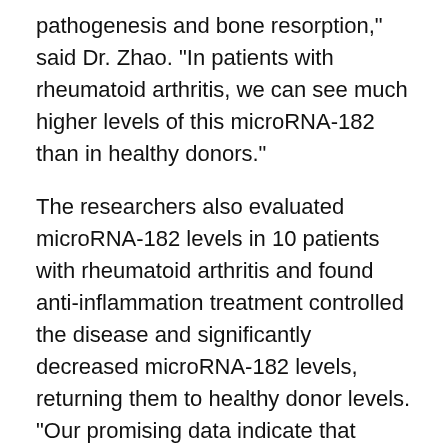pathogenesis and bone resorption," said Dr. Zhao. "In patients with rheumatoid arthritis, we can see much higher levels of this microRNA-182 than in healthy donors."
The researchers also evaluated microRNA-182 levels in 10 patients with rheumatoid arthritis and found anti-inflammation treatment controlled the disease and significantly decreased microRNA-182 levels, returning them to healthy donor levels. "Our promising data indicate that inhibition of microRNA-182 could not only have therapeutic implications," said Dr. Zhao. "microRNA-182 could be also used as a biomarker to track disease progress and potentially the benefits of treatments."
This research was supported by the National Institutes of Health.